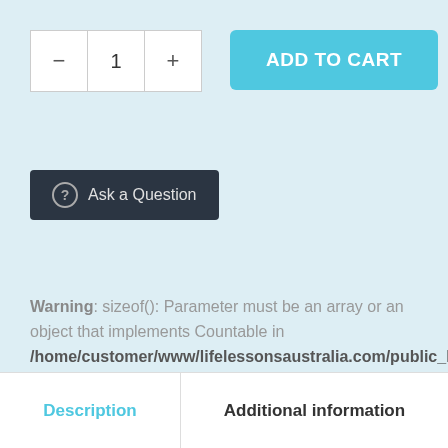[Figure (screenshot): Quantity selector with minus button, value of 1, and plus button]
[Figure (screenshot): Add to Cart button in cyan/teal color]
[Figure (screenshot): Ask a Question button with question mark icon on dark background]
Warning: sizeof(): Parameter must be an array or an object that implements Countable in /home/customer/www/lifelessonsaustralia.com/public_html/wp-content/themes/wp-kindergarten-/woocommerce/single-product/meta.php on line 17
[Figure (screenshot): Tab bar with Description (active, teal) and Additional information tabs]